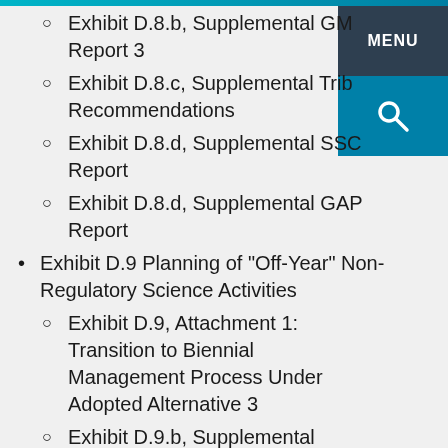Exhibit D.8.b, Supplemental GM Report 3
Exhibit D.8.c, Supplemental Tribal Recommendations
Exhibit D.8.d, Supplemental SSC Report
Exhibit D.8.d, Supplemental GAP Report
Exhibit D.9 Planning of "Off-Year" Non-Regulatory Science Activities
Exhibit D.9, Attachment 1: Transition to Biennial Management Process Under Adopted Alternative 3
Exhibit D.9.b, Supplemental